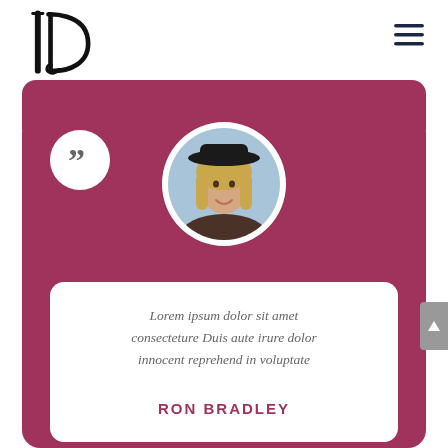[Figure (logo): Stylized 'ID' or 'IQ' monogram logo in serif font, black]
[Figure (infographic): Hamburger / menu icon, three horizontal lines, dark navy]
[Figure (infographic): Testimonial card UI component: mauve/pink rounded card with a quote icon circle (showing closing double-quotation marks), a circular profile photo of a young woman with blonde hair and a black hat, a white speech-bubble inner card with italic lorem ipsum quote text, and the author name RON BRADLEY in bold mauve uppercase]
Lorem ipsum dolor sit amet consecteture Duis aute irure dolor innocent reprehend in voluptate
RON BRADLEY